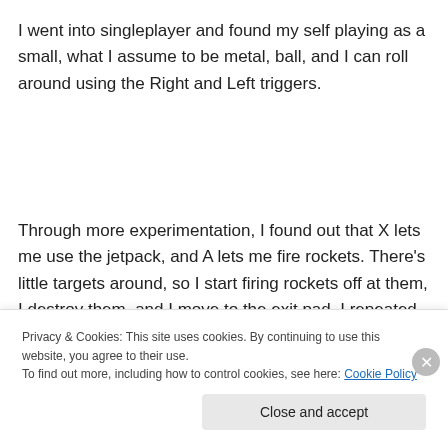I went into singleplayer and found my self playing as a small, what I assume to be metal, ball, and I can roll around using the Right and Left triggers.
Through more experimentation, I found out that X lets me use the jetpack, and A lets me fire rockets. There's little targets around, so I start firing rockets off at them, I destroy them, and I move to the exit pad. I repeated this
Privacy & Cookies: This site uses cookies. By continuing to use this website, you agree to their use.
To find out more, including how to control cookies, see here: Cookie Policy